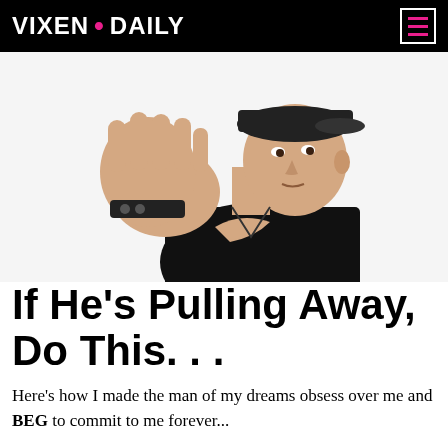VIXEN • DAILY
[Figure (photo): A young man in a black t-shirt and black cap with one hand raised palm-out toward the camera in a 'stop' gesture, on a white background.]
If He's Pulling Away, Do This. . .
Here's how I made the man of my dreams obsess over me and BEG to commit to me forever...